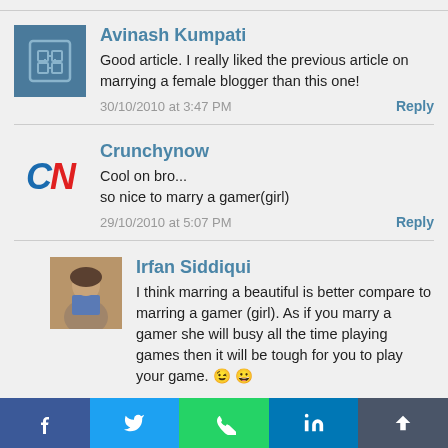Avinash Kumpati
Good article. I really liked the previous article on marrying a female blogger than this one!
30/10/2010 at 3:47 PM
Reply
Crunchynow
Cool on bro...
so nice to marry a gamer(girl)
29/10/2010 at 5:07 PM
Reply
Irfan Siddiqui
I think marring a beautiful is better compare to marring a gamer (girl). As if you marry a gamer she will busy all the time playing games then it will be tough for you to play your game. 😉 😀